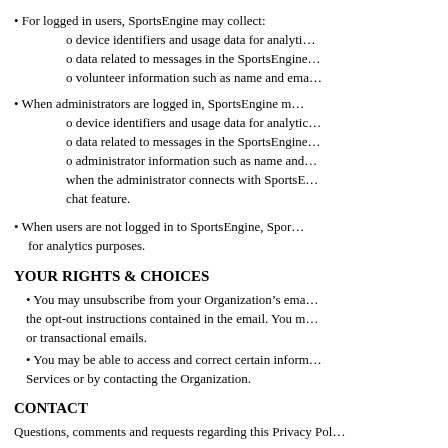For logged in users, SportsEngine may collect: o device identifiers and usage data for analytics o data related to messages in the SportsEngine o volunteer information such as name and email
When administrators are logged in, SportsEngine may collect: o device identifiers and usage data for analytics o data related to messages in the SportsEngine o administrator information such as name and when the administrator connects with SportsEngine chat feature.
When users are not logged in to SportsEngine, SportsEngine may collect device identifiers and usage data for analytics purposes.
YOUR RIGHTS & CHOICES
You may unsubscribe from your Organization's emails by following the opt-out instructions contained in the email. You may not opt out of service or transactional emails.
You may be able to access and correct certain information through the Services or by contacting the Organization.
CONTACT
Questions, comments and requests regarding this Privacy Policy